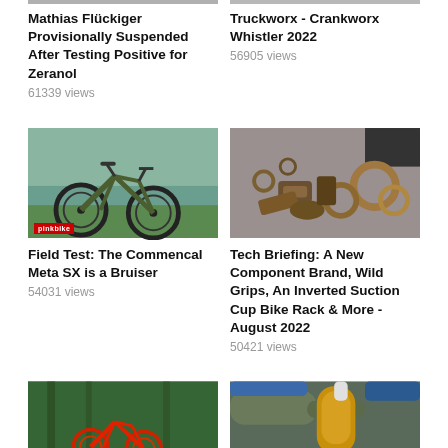[Figure (photo): Partial image at top left - cropped article thumbnail]
Mathias Flückiger Provisionally Suspended After Testing Positive for Zeranol
61339 views
[Figure (photo): Partial image at top right - cropped article thumbnail]
Truckworx - Crankworx Whistler 2022
56905 views
[Figure (photo): Green mountain bike (Commencal Meta SX) in front of a lake, with Pinkbike watermark]
Field Test: The Commencal Meta SX is a Bruiser
54031 views
[Figure (photo): Assorted bronze/copper bike components laid on a grey surface]
Tech Briefing: A New Component Brand, Wild Grips, An Inverted Suction Cup Bike Rack & More - August 2022
50421 views
[Figure (photo): Red mountain bike (full suspension) in a green forest setting]
[Figure (photo): Close-up of a green/gold rear shock on a bike frame with blue components]